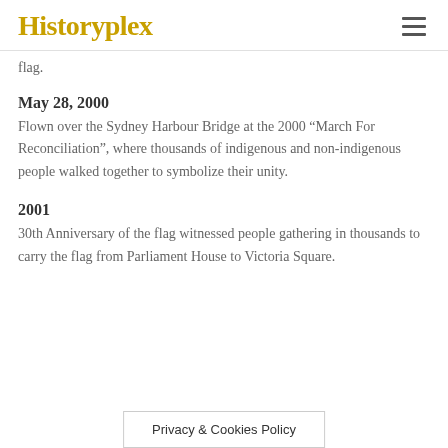Historyplex
flag.
May 28, 2000
Flown over the Sydney Harbour Bridge at the 2000 “March For Reconciliation”, where thousands of indigenous and non-indigenous people walked together to symbolize their unity.
2001
30th Anniversary of the flag witnessed people gathering in thousands to carry the flag from Parliament House to Victoria Square.
Privacy & Cookies Policy